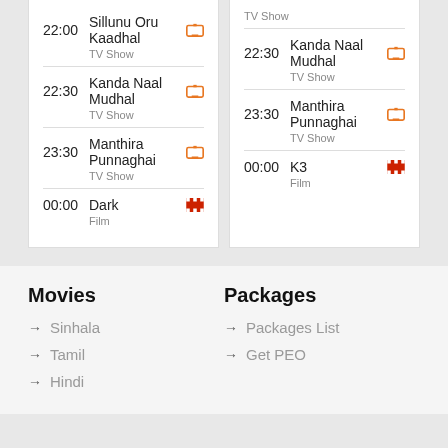22:00 Sillunu Oru Kaadhal TV Show
22:30 Kanda Naal Mudhal TV Show
23:30 Manthira Punnaghai TV Show
00:00 Dark Film
22:30 Kanda Naal Mudhal TV Show
23:30 Manthira Punnaghai TV Show
00:00 K3 Film
Movies
Sinhala
Tamil
Hindi
Packages
Packages List
Get PEO